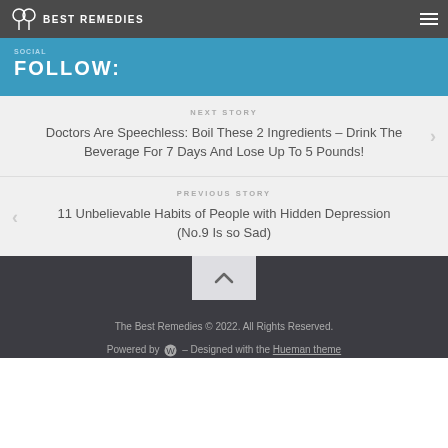BEST REMEDIES
FOLLOW:
NEXT STORY
Doctors Are Speechless: Boil These 2 Ingredients – Drink The Beverage For 7 Days And Lose Up To 5 Pounds!
PREVIOUS STORY
11 Unbelievable Habits of People with Hidden Depression (No.9 Is so Sad)
The Best Remedies © 2022. All Rights Reserved. Powered by – Designed with the Hueman theme